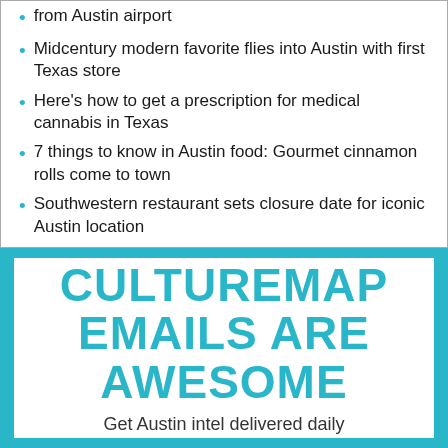from Austin airport
Midcentury modern favorite flies into Austin with first Texas store
Here's how to get a prescription for medical cannabis in Texas
7 things to know in Austin food: Gourmet cinnamon rolls come to town
Southwestern restaurant sets closure date for iconic Austin location
CULTUREMAP EMAILS ARE AWESOME
Get Austin intel delivered daily